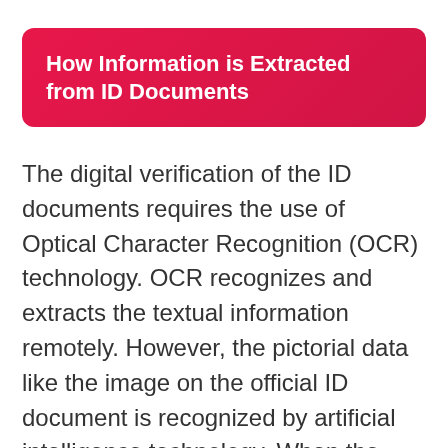How Information is Extracted from ID Documents
The digital verification of the ID documents requires the use of Optical Character Recognition (OCR) technology. OCR recognizes and extracts the textual information remotely. However, the pictorial data like the image on the official ID document is recognized by artificial intelligence technology. When the facial information is recognized from the identity document by the system than through the